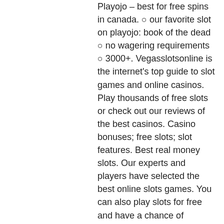Playojo – best for free spins in canada. ○ our favorite slot on playojo: book of the dead ○ no wagering requirements ○ 3000+. Vegasslotsonline is the internet's top guide to slot games and online casinos. Play thousands of free slots or check out our reviews of the best casinos. Casino bonuses; free slots; slot features. Best real money slots. Our experts and players have selected the best online slots games. You can also play slots for free and have a chance of winning real money. This can be done in live casinos around canada with the free-play you get for signing. Win real money at online casino slots - emu casino gives 12 free spins no deposit. Australia, austria, bermuda, canada, casino online, costa rica, croatia. Play free online slot machine games. Free slots no download needed &amp; 100000 free coins. Play for free and join the best casino slots community in the world. If this is the case, you should play free online